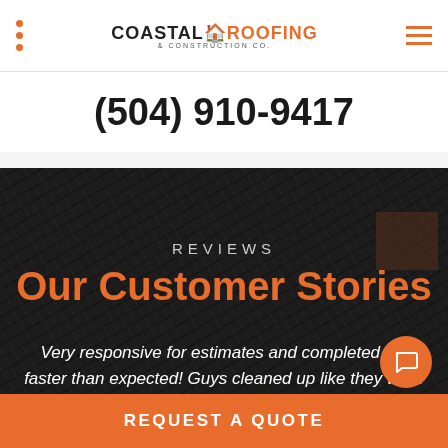COASTAL ROOFING
(504) 910-9417
REVIEWS
Our Customer Stories
Very responsive for estimates and completed job faster than expected! Guys cleaned up like they were never there!! Very Satisfied!
REQUEST A QUOTE